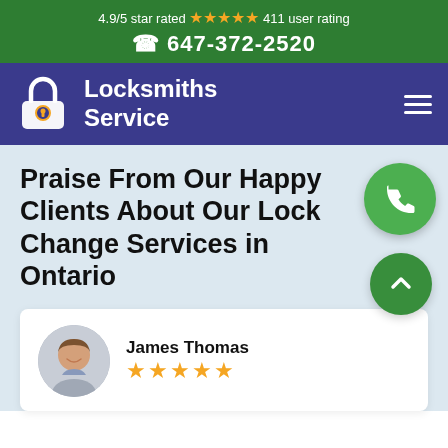4.9/5 star rated ★★★★★ 411 user rating
📞 647-372-2520
Locksmiths Service
Praise From Our Happy Clients About Our Lock Change Services in Ontario
James Thomas
[Figure (other): Five orange stars rating for James Thomas review]